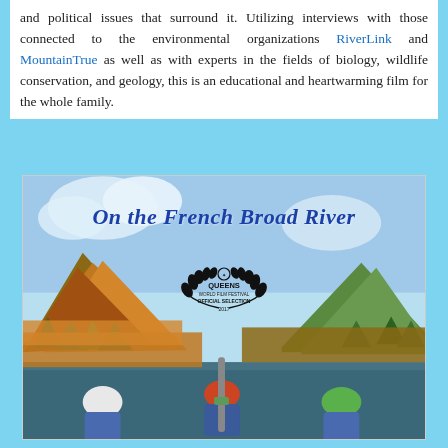and political issues that surround it. Utilizing interviews with those connected to the environmental organizations RiverLink and MountainTrue as well as with experts in the fields of biology, wildlife conservation, and geology, this is an educational and heartwarming film for the whole family.
[Figure (photo): Movie poster for 'On the French Broad River' showing kayakers on a river with autumn mountain scenery. Includes Queens World Film Festival Official Selection 2017 laurel badge.]